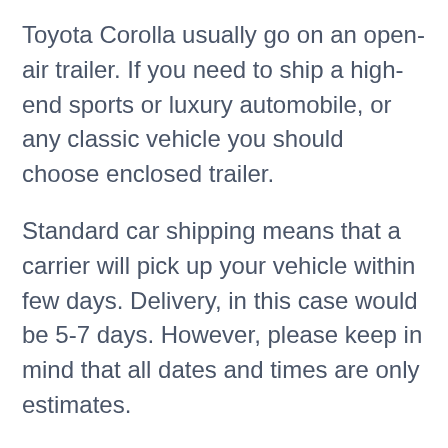Toyota Corolla usually go on an open-air trailer. If you need to ship a high-end sports or luxury automobile, or any classic vehicle you should choose enclosed trailer.
Standard car shipping means that a carrier will pick up your vehicle within few days. Delivery, in this case would be 5-7 days. However, please keep in mind that all dates and times are only estimates.
Expedited delivery could guarantee that your car is picked up or delivered on or by a specified date and time.